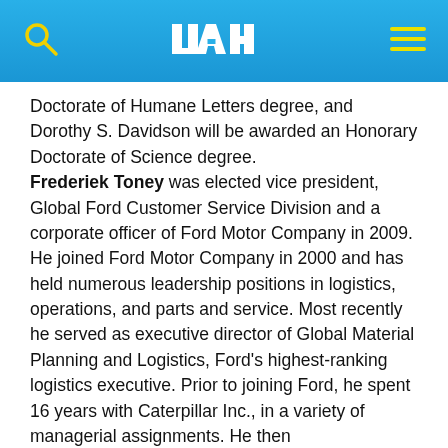UAH header navigation bar
Doctorate of Humane Letters degree, and Dorothy S. Davidson will be awarded an Honorary Doctorate of Science degree.
Frederiek Toney was elected vice president, Global Ford Customer Service Division and a corporate officer of Ford Motor Company in 2009.
He joined Ford Motor Company in 2000 and has held numerous leadership positions in logistics, operations, and parts and service. Most recently he served as executive director of Global Material Planning and Logistics, Ford's highest-ranking logistics executive. Prior to joining Ford, he spent 16 years with Caterpillar Inc., in a variety of managerial assignments. He then